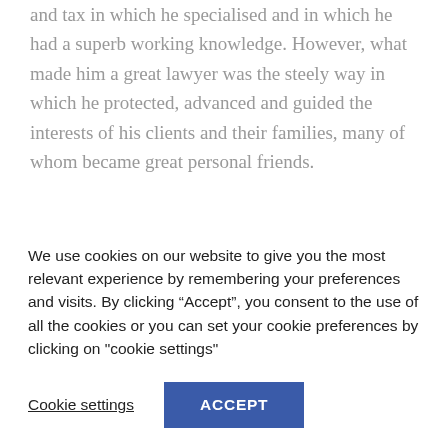and tax in which he specialised and in which he had a superb working knowledge. However, what made him a great lawyer was the steely way in which he protected, advanced and guided the interests of his clients and their families, many of whom became great personal friends.
Jonathan was a man of huge courage, never more vividly displayed than in the stoicism and humour
We use cookies on our website to give you the most relevant experience by remembering your preferences and visits. By clicking “Accept”, you consent to the use of all the cookies or you can set your cookie preferences by clicking on "cookie settings"
Cookie settings
ACCEPT